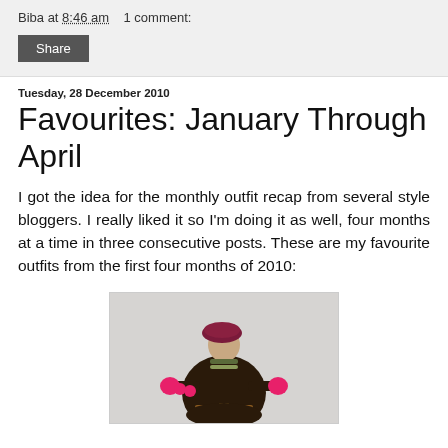Biba at 8:46 am    1 comment:
Share
Tuesday, 28 December 2010
Favourites: January Through April
I got the idea for the monthly outfit recap from several style bloggers. I really liked it so I'm doing it as well, four months at a time in three consecutive posts. These are my favourite outfits from the first four months of 2010:
[Figure (photo): A woman wearing a dark brown/black puffer jacket, wine-red beret hat, striped scarf, and bright pink/magenta gloves with pom-poms, posing with arms outstretched against a light grey background.]